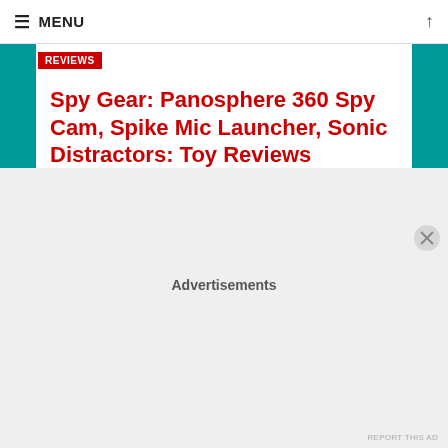≡ MENU ↑
REVIEWS
Spy Gear: Panosphere 360 Spy Cam, Spike Mic Launcher, Sonic Distractors: Toy Reviews
— by ONEGOODDAD
Advertisements
REPORT THIS AD